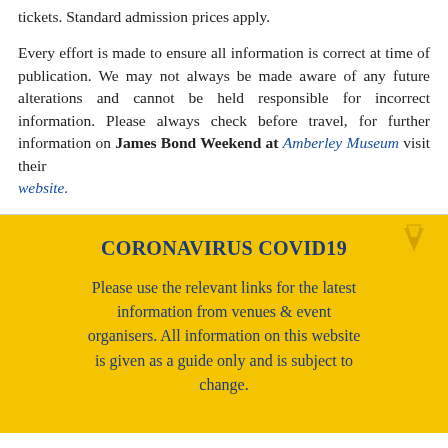tickets. Standard admission prices apply.
Every effort is made to ensure all information is correct at time of publication. We may not always be made aware of any future alterations and cannot be held responsible for incorrect information. Please always check before travel, for further information on James Bond Weekend at Amberley Museum visit their website.
CORONAVIRUS COVID19
Please use the relevant links for the latest information from venues & event organisers. All information on this website is given as a guide only and is subject to change.